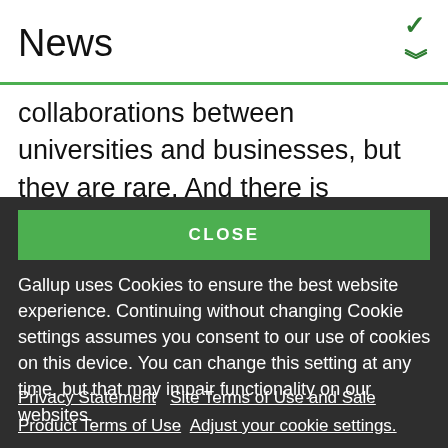News
collaborations between universities and businesses, but they are rare. And there is certainly no evidence that leaders in higher education are taking this work seriously or that employers see it as mission-critical to the future of our country, nor
CLOSE
Gallup uses Cookies to ensure the best website experience. Continuing without changing Cookie settings assumes you consent to our use of cookies on this device. You can change this setting at any time, but that may impair functionality on our websites.
Privacy Statement   Site Terms of Use and Sale
Product Terms of Use   Adjust your cookie settings.